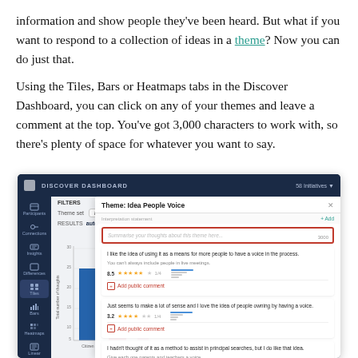information and show people they've been heard. But what if you want to respond to a collection of ideas in a theme? Now you can do just that.
Using the Tiles, Bars or Heatmaps tabs in the Discover Dashboard, you can click on any of your themes and leave a comment at the top. You've got 3,000 characters to work with, so there's plenty of space for whatever you want to say.
[Figure (screenshot): Screenshot of the Discover Dashboard interface showing a bar chart on the left and a modal dialog titled 'Theme: Idea People Voice' on the right. The modal contains a text input area for comments (with 3000 character limit shown), and response cards below with star ratings, mini bar charts, and 'Add public comment' buttons.]